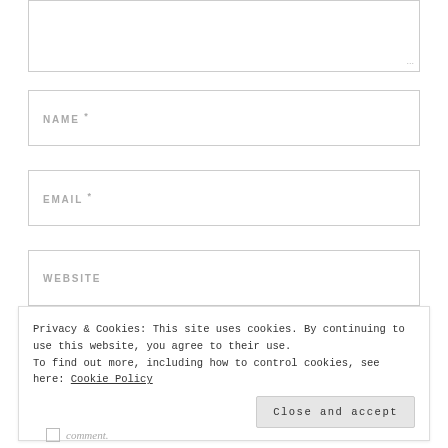[Figure (screenshot): A text area input box (partially visible, top of page) with a resize handle in the bottom-right corner. Below are three form input fields labeled NAME *, EMAIL *, and WEBSITE. Below those fields is partially visible italic text 'Save my name,'. A cookie consent banner overlays the bottom portion of the page with text: 'Privacy & Cookies: This site uses cookies. By continuing to use this website, you agree to their use. To find out more, including how to control cookies, see here: Cookie Policy' and a 'Close and accept' button. At the very bottom is a partially visible checkbox with label text 'comment.']
NAME *
EMAIL *
WEBSITE
Save my name,
Privacy & Cookies: This site uses cookies. By continuing to use this website, you agree to their use.
To find out more, including how to control cookies, see here: Cookie Policy
Close and accept
comment.